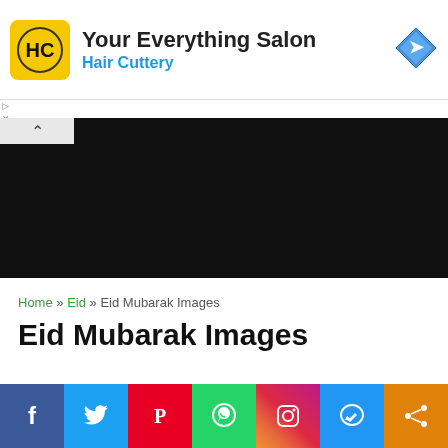[Figure (screenshot): Advertisement banner for Hair Cuttery salon with yellow logo, text 'Your Everything Salon' and 'Hair Cuttery' in blue, and a blue navigation arrow icon on the right]
[Figure (screenshot): Dark/black media or video player block with a collapse/chevron tab in the upper left corner]
Home » Eid » Eid Mubarak Images
Eid Mubarak Images
[Figure (screenshot): Social media share bar with icons: Facebook (blue), Twitter (light blue), Pinterest (red), WhatsApp (green), Instagram (gradient), Messenger (blue), Share (orange)]